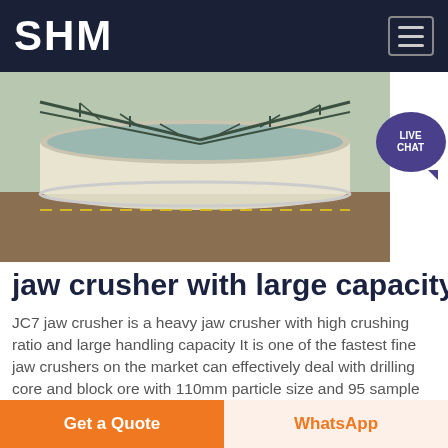SHM
[Figure (photo): Aerial view of a large circular industrial settling tank or thickener with a metal truss bridge/catwalk structure across it, surrounded by earthen ground]
jaw crusher with large capacity
JC7 jaw crusher is a heavy jaw crusher with high crushing ratio and large handling capacity It is one of the fastest fine jaw crushers on the market can effectively deal with drilling core and block ore with 110mm particle size and 95 sample can be ground to as fine as 2mm at the speed of 18 20s/kg.
Chat Online